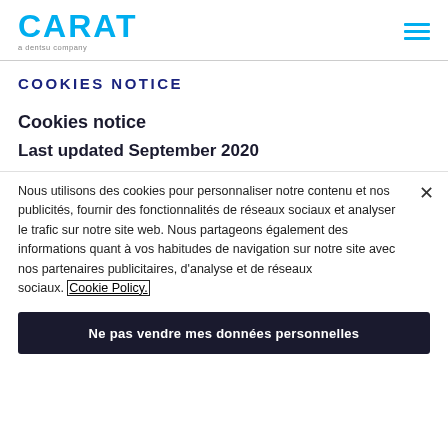CARAT a dentsu company
COOKIES NOTICE
Cookies notice
Last updated September 2020
Nous utilisons des cookies pour personnaliser notre contenu et nos publicités, fournir des fonctionnalités de réseaux sociaux et analyser le trafic sur notre site web. Nous partageons également des informations quant à vos habitudes de navigation sur notre site avec nos partenaires publicitaires, d'analyse et de réseaux sociaux. Cookie Policy.
Ne pas vendre mes données personnelles